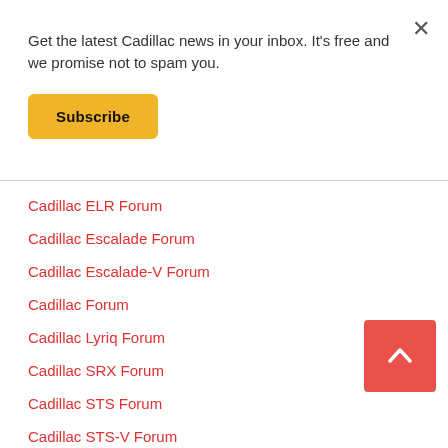Get the latest Cadillac news in your inbox. It's free and we promise not to spam you.
Subscribe
Cadillac ELR Forum
Cadillac Escalade Forum
Cadillac Escalade-V Forum
Cadillac Forum
Cadillac Lyriq Forum
Cadillac SRX Forum
Cadillac STS Forum
Cadillac STS-V Forum